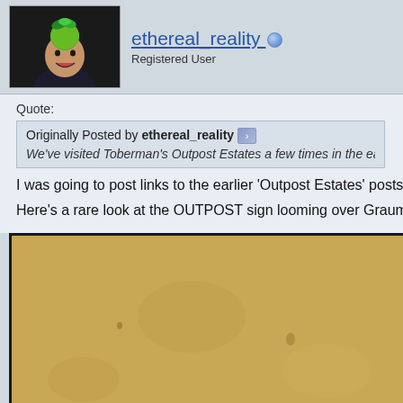[Figure (photo): Avatar photo of a man wearing a green apple on his head in front of a dark background]
ethereal_reality
Registered User
Quote:
Originally Posted by ethereal_reality
We've visited Toberman's Outpost Estates a few times in the early y
I was going to post links to the earlier 'Outpost Estates' posts but so ma
Here's a rare look at the OUTPOST sign looming over Graumans Chine
[Figure (photo): Old sepia-toned photograph, likely showing an exterior scene with a tan/yellow background]